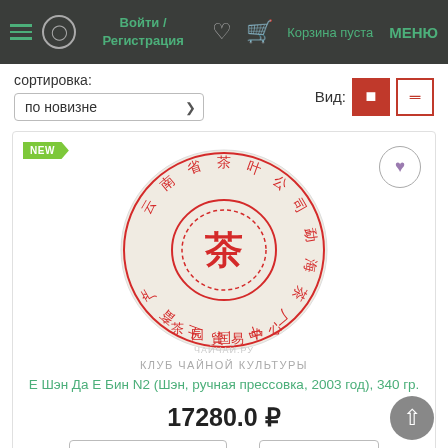Войти / Регистрация  Корзина пуста  МЕНЮ
сортировка:
по новизне
Вид:
[Figure (photo): Round pressed tea cake (bing) with red Chinese characters. Watermark reads КЛУБ ЧАЙНОГО КУЛЬТУРЫ.]
КЛУБ ЧАЙНОЙ КУЛЬТУРЫ
Е Шэн Да Е Бин N2 (Шэн, ручная прессовка, 2003 год), 340 гр.
17280.0 ₽
100 г.
x
1 шт.